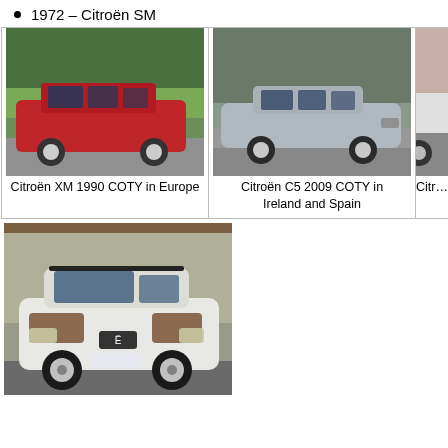1972 – Citroën SM
[Figure (photo): Citroën XM 1990 COTY in Europe — red Citroën XM hatchback parked on a road with trees in background]
Citroën XM 1990 COTY in Europe
[Figure (photo): Citroën C5 2009 COTY in Ireland and Spain — silver Citroën C5 sedan in a parking area with trees]
Citroën C5 2009 COTY in Ireland and Spain
[Figure (photo): Partial view of a third Citroën vehicle, cropped at right edge]
Citr…
[Figure (photo): Citroën C4 Cactus — white SUV/crossover with distinctive airbump panels, front 3/4 view]